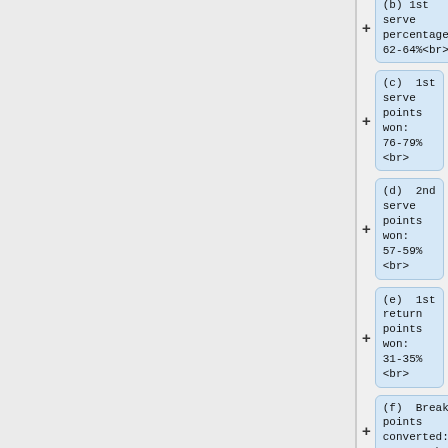(b) 1st serve percentage: 62-64%<br>
(c) 1st serve points won: 76-79%<br>
(d) 2nd serve points won: 57-59%<br>
(e) 1st return points won: 31-35%<br>
(f) Break points converted: 41-44%.<br>
<b>Discussion</b><br>